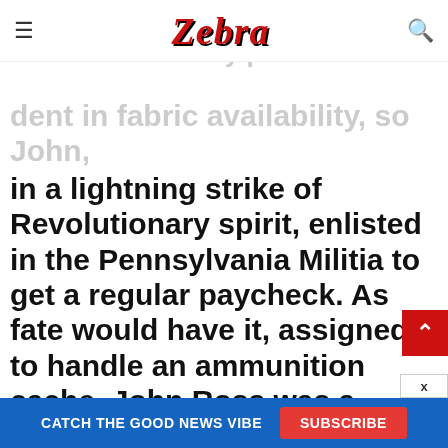Zebra (navigation bar with hamburger menu and search icon)
own upholstery business but the war really put a dent in fabric availability, so John, in a lightning strike of Revolutionary spirit, enlisted in the Pennsylvania Militia to get a regular paycheck. As fate would have it, assigned to handle an ammunition cache, John Ross was a casualty when the ammunition cache exploded. Despite Betsy's great nursing efforts, John Ross died of his wounds in January 177
CATCH THE GOOD NEWS VIBE
SUBSCRIBE